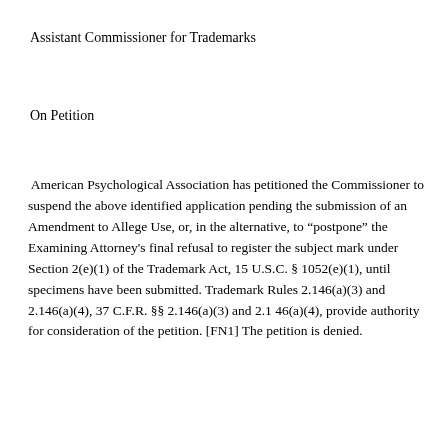Assistant Commissioner for Trademarks
On Petition
American Psychological Association has petitioned the Commissioner to suspend the above identified application pending the submission of an Amendment to Allege Use, or, in the alternative, to "postpone" the Examining Attorney's final refusal to register the subject mark under Section 2(e)(1) of the Trademark Act, 15 U.S.C. § 1052(e)(1), until specimens have been submitted. Trademark Rules 2.146(a)(3) and 2.146(a)(4), 37 C.F.R. §§ 2.146(a)(3) and 2.1 46(a)(4), provide authority for consideration of the petition. [FN1] The petition is denied.